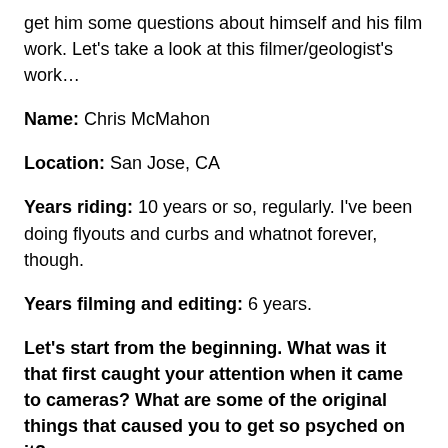get him some questions about himself and his film work. Let's take a look at this filmer/geologist's work…
Name: Chris McMahon
Location: San Jose, CA
Years riding: 10 years or so, regularly. I've been doing flyouts and curbs and whatnot forever, though.
Years filming and editing: 6 years.
Let's start from the beginning. What was it that first caught your attention when it came to cameras? What are some of the original things that caused you to get so psyched on it?